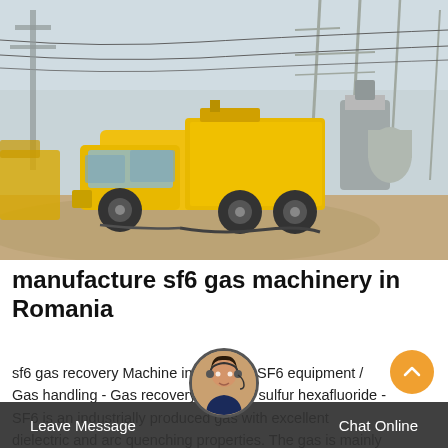[Figure (photo): A yellow utility truck parked at an electrical substation with large transformers and overhead power line infrastructure in the background. Sandy/dusty environment.]
manufacture sf6 gas machinery in Romania
sf6 gas recovery Machine in romania. SF6 equipment / Gas handling - Gas recovery SF6 gas sulfur hexafluoride - SF6 is an industrially produced gas with excellent dielectric and arc quenching properties. The gas is mainly used as insulation and
Leave Message   Chat Online